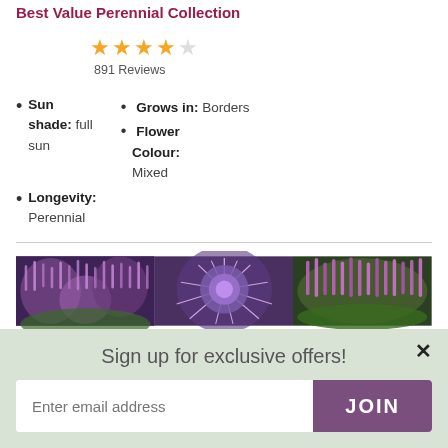Best Value Perennial Collection
[Figure (other): 4 orange/yellow star rating and 1 empty star]
891 Reviews
Sun shade: full sun
Grows in: Borders
Flower Colour: Mixed
Longevity: Perennial
[Figure (photo): Three photos of purple/pink perennial flowers side by side]
Sign up for exclusive offers!
Enter email address
JOIN